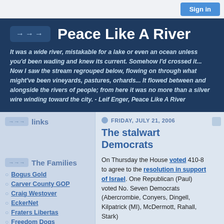Sign in
Peace Like A River
It was a wide river, mistakable for a lake or even an ocean unless you'd been wading and knew its current. Somehow I'd crossed it... Now I saw the stream regrouped below, flowing on through what might've been vineyards, pastures, orhards... It flowed between and alongside the rivers of people; from here it was no more than a silver wire winding toward the city. - Leif Enger, Peace Like A River
links
The Families
Bogus Gold
Carver County GOP
Craig Westover
EckerNet
Fraters Libertas
Freedom Dogs
Hammerswing75
Jay Reding
FRIDAY, JULY 21, 2006
The stalwart Democrats
On Thursday the House voted 410-8 to agree to the resolution in support of Israel. One Republican (Paul) voted No. Seven Democrats (Abercrombie, Conyers, Dingell, Kilpatrick (MI), McDermott, Rahall, Stark)